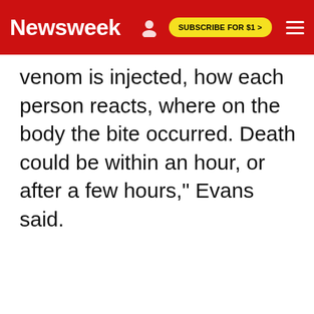Newsweek | SUBSCRIBE FOR $1 >
venom is injected, how each person reacts, where on the body the bite occurred. Death could be within an hour, or after a few hours," Evans said.